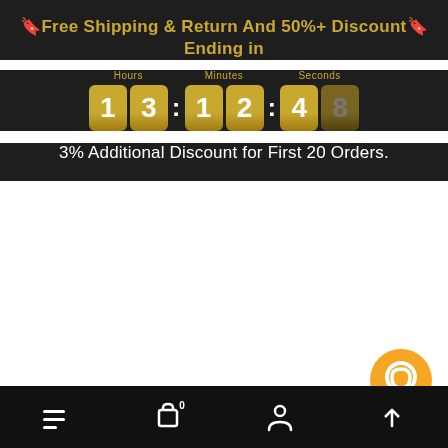🔖Free Shipping & Return And 50%+ Discount🔖 Ending in
[Figure (infographic): Countdown timer showing Hours: 13, Minutes: 12, Seconds: 48 displayed as golden digit boxes on dark background]
3% Additional Discount for First 20 Orders.
[Figure (infographic): Orange circular chat button in bottom right area]
Navigation bar with menu, cart (0), profile, and scroll-up icons